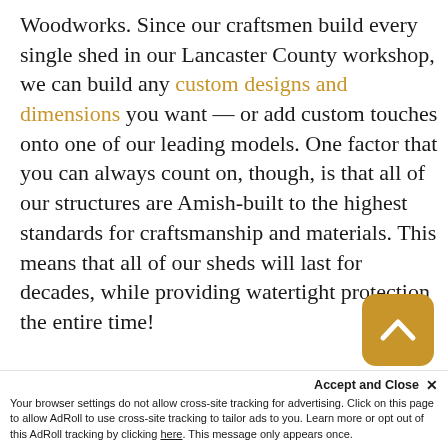Woodworks. Since our craftsmen build every single shed in our Lancaster County workshop, we can build any custom designs and dimensions you want — or add custom touches onto one of our leading models. One factor that you can always count on, though, is that all of our structures are Amish-built to the highest standards for craftsmanship and materials. This means that all of our sheds will last for decades, while providing watertight protection the entire time!
Get Exact Prices on a 10X12 Sh...
Accept and Close ✕
Your browser settings do not allow cross-site tracking for advertising. Click on this page to allow AdRoll to use cross-site tracking to tailor ads to you. Learn more or opt out of this AdRoll tracking by clicking here. This message only appears once.